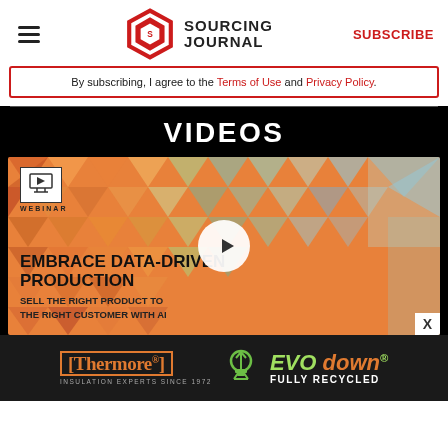Sourcing Journal — SUBSCRIBE
By subscribing, I agree to the Terms of Use and Privacy Policy.
VIDEOS
[Figure (screenshot): Webinar video thumbnail for 'Embrace Data-Driven Production — Sell the Right Product to the Right Customer With AI' with a play button overlay. Background has a colorful geometric triangle pattern.]
[Figure (logo): Thermore Insulation Experts Since 1972 and EVO down Fully Recycled advertisement banner]